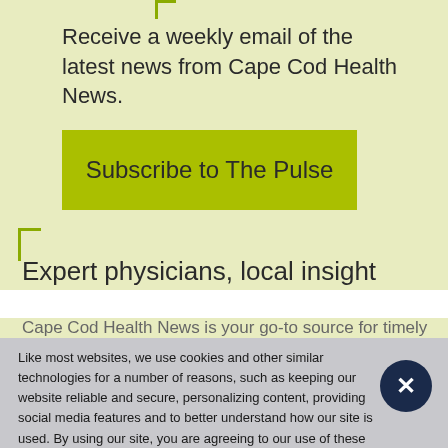Receive a weekly email of the latest news from Cape Cod Health News.
Subscribe to The Pulse
Expert physicians, local insight
Cape Cod Health News is your go-to source for timely
Like most websites, we use cookies and other similar technologies for a number of reasons, such as keeping our website reliable and secure, personalizing content, providing social media features and to better understand how our site is used. By using our site, you are agreeing to our use of these tools. Learn More